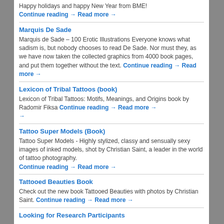Happy holidays and happy New Year from BME! Continue reading → Read more →
Marquis De Sade
Marquis de Sade – 100 Erotic Illustrations Everyone knows what sadism is, but nobody chooses to read De Sade. Nor must they, as we have now taken the collected graphics from 4000 book pages, and put them together without the text. Continue reading → Read more →
Lexicon of Tribal Tattoos (book)
Lexicon of Tribal Tattoos: Motifs, Meanings, and Origins book by Radomir Fiksa Continue reading → Read more → →
Tattoo Super Models (Book)
Tattoo Super Models - Highly stylized, classy and sensually sexy images of inked models, shot by Christian Saint, a leader in the world of tattoo photography. Continue reading → Read more →
Tattooed Beauties Book
Check out the new book Tattooed Beauties with photos by Christian Saint. Continue reading → Read more →
Looking for Research Participants